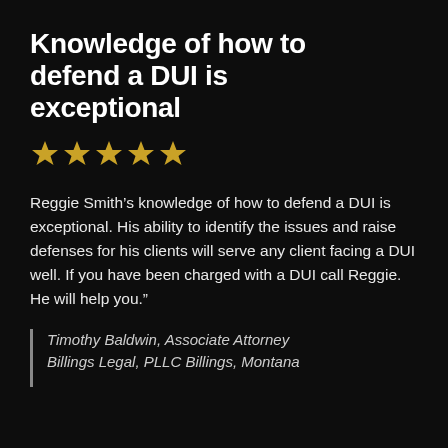Knowledge of how to defend a DUI is exceptional
[Figure (other): Five gold star rating icons]
Reggie Smith’s knowledge of how to defend a DUI is exceptional. His ability to identify the issues and raise defenses for his clients will serve any client facing a DUI well. If you have been charged with a DUI call Reggie. He will help you.”
Timothy Baldwin, Associate Attorney Billings Legal, PLLC Billings, Montana